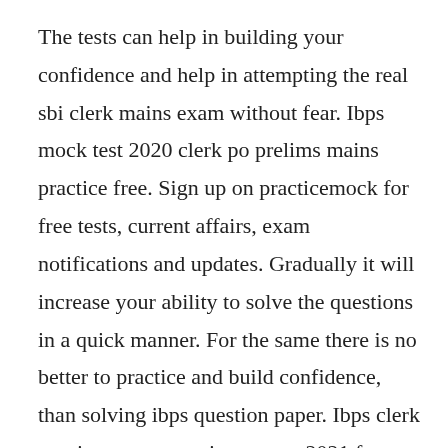The tests can help in building your confidence and help in attempting the real sbi clerk mains exam without fear. Ibps mock test 2020 clerk po prelims mains practice free. Sign up on practicemock for free tests, current affairs, exam notifications and updates. Gradually it will increase your ability to solve the questions in a quick manner. For the same there is no better to practice and build confidence, than solving ibps question paper. Ibps clerk previous year question papers 2021 free download.